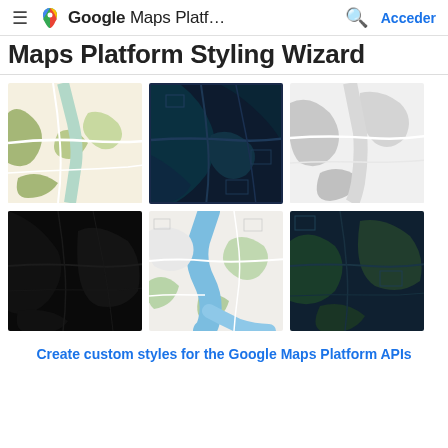Google Maps Platf... Acceder
Maps Platform Styling Wizard
[Figure (screenshot): Grid of 6 Google Maps style thumbnails showing different map themes: standard, dark navy, light grey (row 1); very dark/black, light blue-green river, dark teal (row 2)]
Create custom styles for the Google Maps Platform APIs